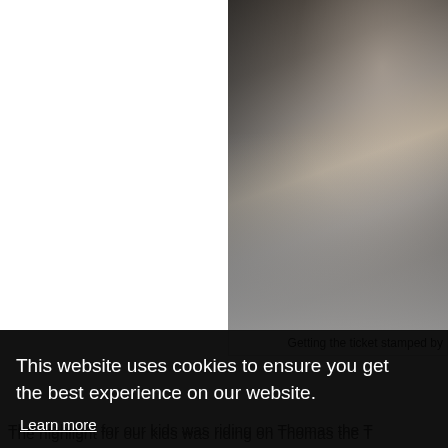[Figure (photo): Photo of someone getting a ticket stamped, partially cropped at top of page, right side]
Getting the ticket stamped by
The highlight for our kids was riding on Thomas the T... am, 10:30 am, 1 pm, 2 pm, 3 pm and 4 pm. The train... about 2.5 hours exploring the grounds with the other
This website uses cookies to ensure you get the best experience on our website.
Learn more
Got it!
[Figure (photo): Photo of smiling people on the right side of the page, partially visible]